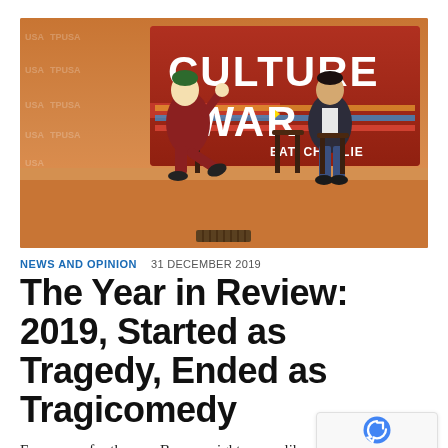[Figure (photo): Photo showing the Joker character (person in Joker costume/makeup) seated on a stool on stage, and another person (man in dark blazer) seated on a stool to the right, in front of a 'Culture War feat. Charlie' TPUSA branded backdrop on an orange stage.]
NEWS AND OPINION   31 DECEMBER 2019
The Year in Review: 2019, Started as Tragedy, Ended as Tragicomedy
Every year for the non-Boomer right seems like a